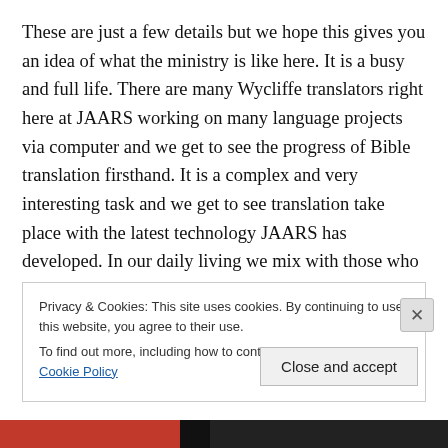These are just a few details but we hope this gives you an idea of what the ministry is like here. It is a busy and full life. There are many Wycliffe translators right here at JAARS working on many language projects via computer and we get to see the progress of Bible translation firsthand. It is a complex and very interesting task and we get to see translation take place with the latest technology JAARS has developed. In our daily living we mix with those who are on the front lines as well as others in support roles such as ours. It is a blessing to see our part in this wonderful process and the eternal hope given to
Privacy & Cookies: This site uses cookies. By continuing to use this website, you agree to their use.
To find out more, including how to control cookies, see here: Cookie Policy
Close and accept